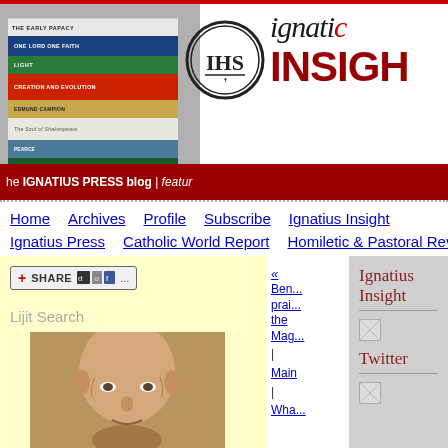[Figure (photo): Ignatius Insight blog banner showing a stack of books on the left, the IHS logo medallion, and the text 'ignatius INSIGHT' with a red bar at bottom reading 'the IGNATIUS PRESS blog | featur...']
Home | Archives | Profile | Subscribe | Ignatius Insight | Ignatius Press | Catholic World Report | Homiletic & Pastoral Review
[Figure (screenshot): Share button with plus icon and social media icons (delicious, Google, Facebook)]
Lijit Search
[Figure (photo): Portrait photograph of a bald man (likely a historical figure or saint)]
« Ben... prais... the Mag... | Main | What...
Ignatius Insight
[Figure (photo): Small image placeholder under Ignatius Insight heading]
Twitter
[Figure (photo): Small image placeholder under Twitter heading]